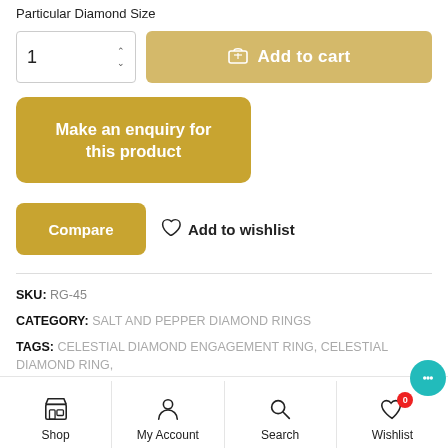Particular Diamond Size
1  Add to cart
Make an enquiry for this product
Compare  Add to wishlist
SKU: RG-45
CATEGORY: SALT AND PEPPER DIAMOND RINGS
TAGS: CELESTIAL DIAMOND ENGAGEMENT RING, CELESTIAL DIAMOND RING, GALAXY DIAMOND ENGAGEMENT RING, GALAXY DIAMOND FOR SALE, GALAXY DIAMOND RING, GEORGOUS DIAMOND ENGAGEMENT RING AND
Shop  My Account  Search  Wishlist